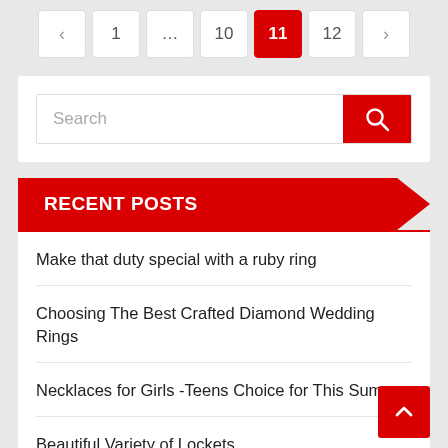Pagination: < 1 ... 10 11 12 >
[Figure (screenshot): Search input box with red search button]
RECENT POSTS
Make that duty special with a ruby ring
Choosing The Best Crafted Diamond Wedding Rings
Necklaces for Girls -Teens Choice for This Summer
Beautiful Variety of Lockets